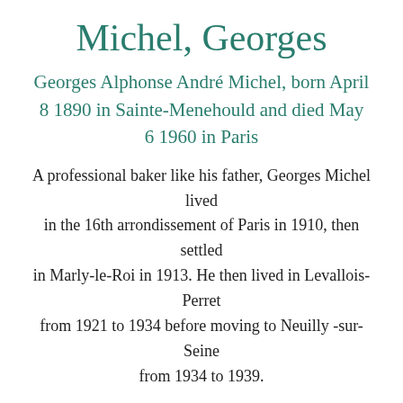Michel, Georges
Georges Alphonse André Michel, born April 8 1890 in Sainte-Menehould and died May 6 1960 in Paris
A professional baker like his father, Georges Michel lived in the 16th arrondissement of Paris in 1910, then settled in Marly-le-Roi in 1913. He then lived in Levallois-Perret from 1921 to 1934 before moving to Neuilly-sur-Seine from 1934 to 1939.
Mobilized as a service gunner, he served in the front artillery throughout the First World War.